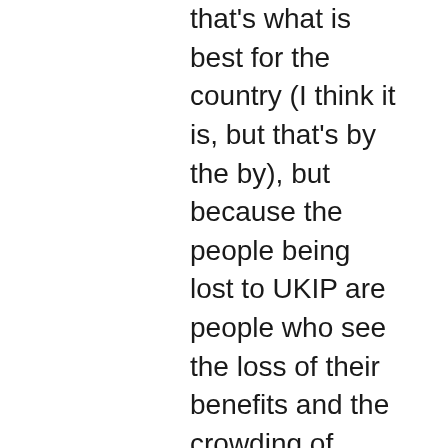that's what is best for the country (I think it is, but that's by the by), but because the people being lost to UKIP are people who see the loss of their benefits and the crowding of infrastructure as the fault of foreigners, when in fact is the fault of 30 years of government decisions to restrict public spending and infrastructure development. i.e. the only way to undermine this racist view amongst British voters is to ensure that the major economic problems facing Britain are solved, so that there are no major problems to blame on foreigners. I don't think the Tories can do this – their policy prescriptions generally involve more competition at the bottom, and provided that people like my parents think that competition at the bottom of the salary pile will be won by cheap Romanians, such policies will never